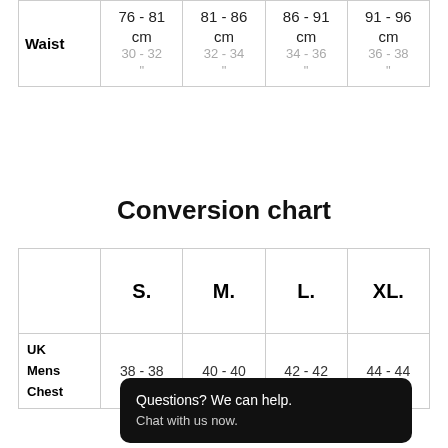|  | 76 - 81 cm / 30 - 32" | 81 - 86 cm / 32 - 34" | 86 - 91 cm / 34 - 36" | 91 - 96 cm / 36 - 38" |
| --- | --- | --- | --- | --- |
| Waist | 76 - 81 cm
30 - 32" | 81 - 86 cm
32 - 34" | 86 - 91 cm
34 - 36" | 91 - 96 cm
36 - 38" |
Conversion chart
|  | S. | M. | L. | XL. |
| --- | --- | --- | --- | --- |
| UK
Mens
Chest | 38 - 38 | 40 - 40 | 42 - 42 | 44 - 44 |